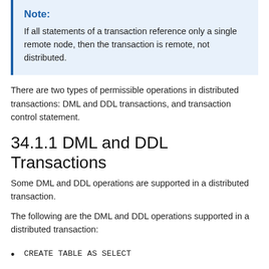Note:
If all statements of a transaction reference only a single remote node, then the transaction is remote, not distributed.
There are two types of permissible operations in distributed transactions: DML and DDL transactions, and transaction control statement.
34.1.1 DML and DDL Transactions
Some DML and DDL operations are supported in a distributed transaction.
The following are the DML and DDL operations supported in a distributed transaction:
CREATE TABLE AS SELECT
DELETE
INSERT (default and direct load)